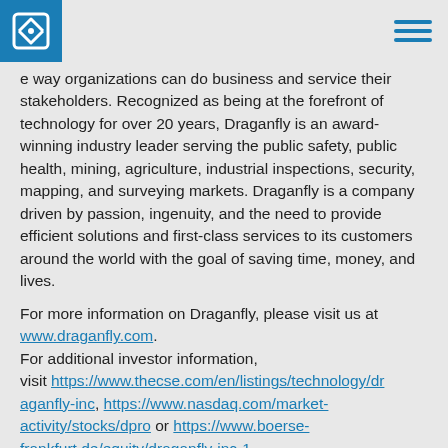Draganfly logo and navigation
e way organizations can do business and service their stakeholders. Recognized as being at the forefront of technology for over 20 years, Draganfly is an award-winning industry leader serving the public safety, public health, mining, agriculture, industrial inspections, security, mapping, and surveying markets. Draganfly is a company driven by passion, ingenuity, and the need to provide efficient solutions and first-class services to its customers around the world with the goal of saving time, money, and lives.
For more information on Draganfly, please visit us at www.draganfly.com. For additional investor information, visit https://www.thecse.com/en/listings/technology/draganfly-inc, https://www.nasdaq.com/market-activity/stocks/dpro or https://www.boerse-frankfurt.de/equity/draganfly-inc-1.
Media Contact
Arian Hopkins
Email: media@draganfly.com